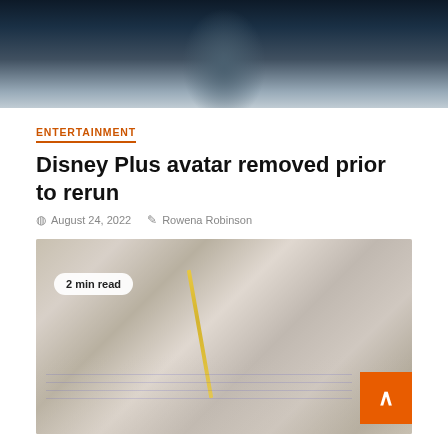[Figure (photo): Close-up photo of a person with dark braids wearing teal/blue makeup or costume, likely from the Avatar film]
ENTERTAINMENT
Disney Plus avatar removed prior to rerun
August 24, 2022   Rowena Robinson
[Figure (photo): Person writing in a notebook with a pencil, wearing a white striped shirt, with a black bag in the background. Badge shows '2 min read'.]